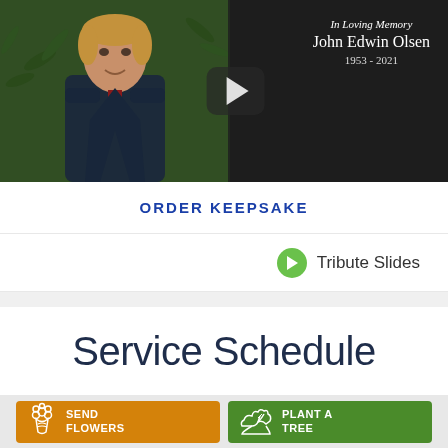[Figure (photo): Memorial video thumbnail showing a man in a dark suit with red tie against green foliage background, with overlay text 'In Loving Memory John Edwin Olsen 1953 - 2021' and a play button]
ORDER KEEPSAKE
Tribute Slides
Service Schedule
SEND FLOWERS
PLANT A TREE